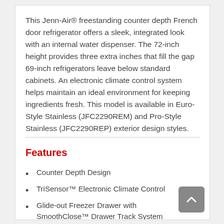This Jenn-Air® freestanding counter depth French door refrigerator offers a sleek, integrated look with an internal water dispenser. The 72-inch height provides three extra inches that fill the gap 69-inch refrigerators leave below standard cabinets. An electronic climate control system helps maintain an ideal environment for keeping ingredients fresh. This model is available in Euro-Style Stainless (JFC2290REM) and Pro-Style Stainless (JFC2290REP) exterior design styles.
Features
Counter Depth Design
TriSensor™ Electronic Climate Control
Glide-out Freezer Drawer with SmoothClose™ Drawer Track System
Adjustable Humidity-Controlled Crisper Drawers